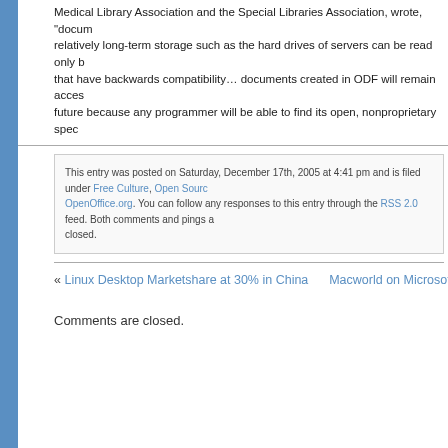Medical Library Association and the Special Libraries Association, wrote, "documents stored on relatively long-term storage such as the hard drives of servers can be read only by computers that have backwards compatibility… documents created in ODF will remain accessible in the future because any programmer will be able to find its open, nonproprietary spec
This entry was posted on Saturday, December 17th, 2005 at 4:41 pm and is filed under Free Culture, Open Source, OpenOffice.org. You can follow any responses to this entry through the RSS 2.0 feed. Both comments and pings are now closed.
« Linux Desktop Marketshare at 30% in China    Macworld on Microsoft's Doub
Comments are closed.